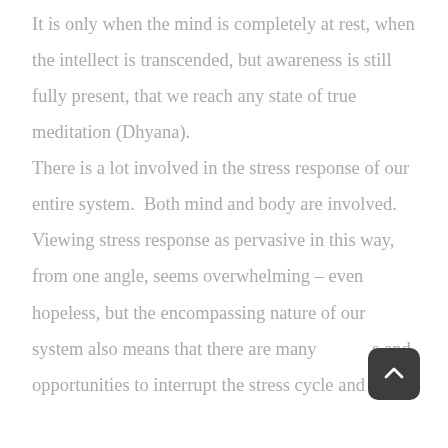It is only when the mind is completely at rest, when the intellect is transcended, but awareness is still fully present, that we reach any state of true meditation (Dhyana).

There is a lot involved in the stress response of our entire system.  Both mind and body are involved. Viewing stress response as pervasive in this way, from one angle, seems overwhelming – even hopeless, but the encompassing nature of our system also means that there are many ways and opportunities to interrupt the stress cycle and